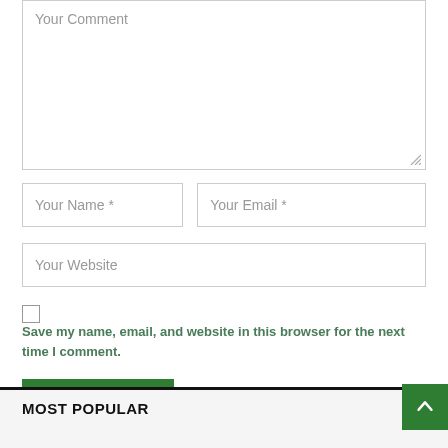[Figure (screenshot): A web comment form with a large textarea labeled 'Your Comment', two side-by-side input fields labeled 'Your Name *' and 'Your Email *', a full-width input field labeled 'Your Website', a checkbox with label 'Save my name, email, and website in this browser for the next time I comment.', a green 'POST COMMENT' button, a green scroll-to-top arrow button at bottom right, and a 'MOST POPULAR' section header at the bottom.]